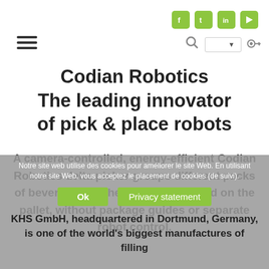Navigation header with hamburger menu, social icons (Facebook, Twitter, LinkedIn, YouTube), search, language dropdown, and key icon
Codian Robotics
The leading innovator
of pick & place robots
A camera-controlled, energy-efficient Codian Robotics delta picker groups different packs of beverages as they will be arranged on the pallet, without package guides or separate robot control.
Notre site web utilise des cookies pour améliorer le site Web. En utilisant notre site Web, vous acceptez le placement de cookies (de suivi).
KHS GmbH, headquartered in Dortmund, Germany, is one of the world's biggest manufactures of filling